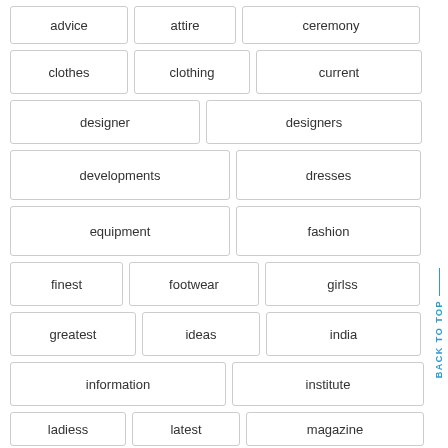advice
attire
ceremony
clothes
clothing
current
designer
designers
developments
dresses
equipment
fashion
finest
footwear
girlss
greatest
ideas
india
information
institute
ladiess
latest
magazine